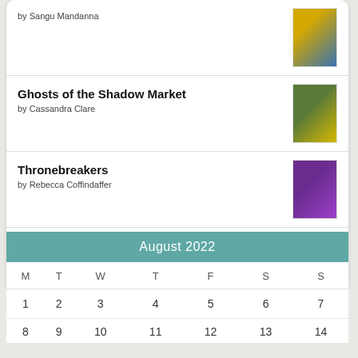by Sangu Mandanna
Ghosts of the Shadow Market
by Cassandra Clare
Thronebreakers
by Rebecca Coffindaffer
[Figure (logo): goodreads logo button with rounded rectangle border]
| M | T | W | T | F | S | S |
| --- | --- | --- | --- | --- | --- | --- |
| 1 | 2 | 3 | 4 | 5 | 6 | 7 |
| 8 | 9 | 10 | 11 | 12 | 13 | 14 |